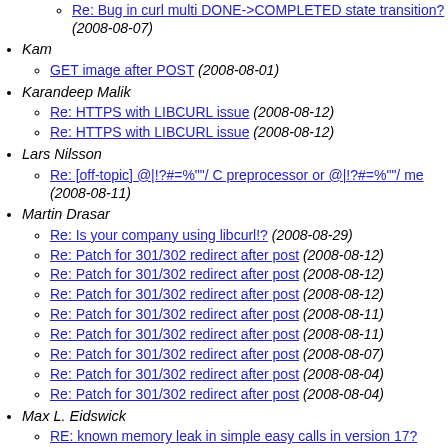Re: Bug in curl multi DONE->COMPLETED state transition? (2008-08-07)
Kam
GET image after POST (2008-08-01)
Karandeep Malik
Re: HTTPS with LIBCURL issue (2008-08-12)
Re: HTTPS with LIBCURL issue (2008-08-12)
Lars Nilsson
Re: [off-topic] @|!?#=%""/ C preprocessor or @|!?#=%""/ me (2008-08-11)
Martin Drasar
Re: Is your company using libcurl!? (2008-08-29)
Re: Patch for 301/302 redirect after post (2008-08-12)
Re: Patch for 301/302 redirect after post (2008-08-12)
Re: Patch for 301/302 redirect after post (2008-08-12)
Re: Patch for 301/302 redirect after post (2008-08-11)
Re: Patch for 301/302 redirect after post (2008-08-11)
Re: Patch for 301/302 redirect after post (2008-08-07)
Re: Patch for 301/302 redirect after post (2008-08-04)
Re: Patch for 301/302 redirect after post (2008-08-04)
Max L. Eidswick
RE: known memory leak in simple easy calls in version 17? (2008-08-23)
RE: known memory leak in simple easy calls in